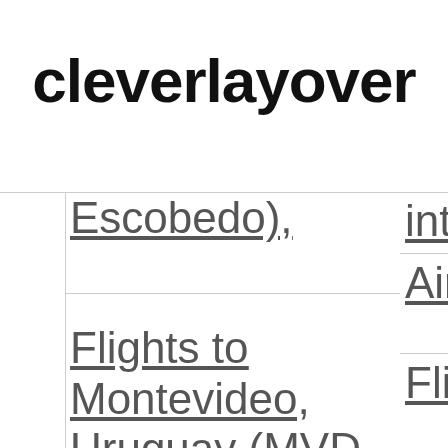cleverlayover
| Escobedo), | int |
|  | Air |
| Flights to Montevideo, Uruguay (MVD-Carrasco) | Fli
Ma
Vil
(M |